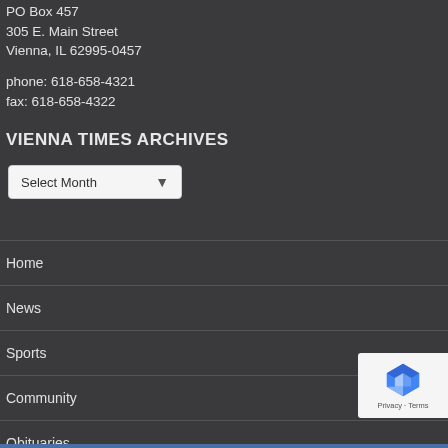PO Box 457
305 E. Main Street
Vienna, IL 62995-0457
phone: 618-658-4321
fax: 618-658-4322
VIENNA TIMES ARCHIVES
Select Month
Home
News
Sports
Community
Obituaries
Public Notices
Subscriptions